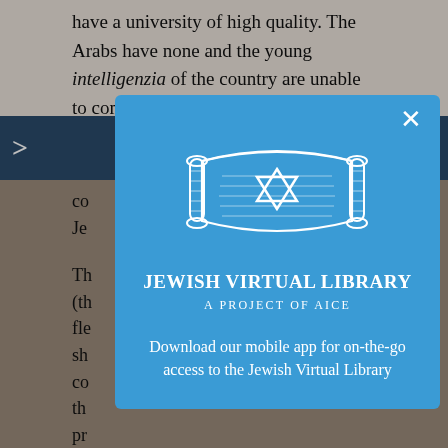have a university of high quality. The Arabs have none and the young intelligenzia of the country are unable to complete their education without the cost
co... Je...
Th... (th... fle... sh... co... ut th... pr... do...
[Figure (logo): Jewish Virtual Library logo — a Torah scroll with a Star of David in the center, white on blue background. Text reads: JEWISH VIRTUAL LIBRARY, A PROJECT OF AICE. Below: Download our mobile app for on-the-go access to the Jewish Virtual Library]
genuine demand for them. There can be little really effective extension of village self-government until the provision of primary education has had more